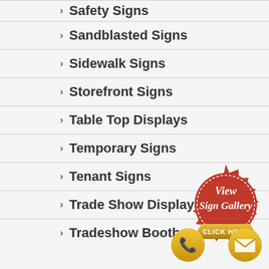[Figure (logo): Hamburger menu icon with three golden horizontal lines and MENU label in gold]
Safety Signs
Sandblasted Signs
Sidewalk Signs
Storefront Signs
Table Top Displays
Temporary Signs
Tenant Signs
Trade Show Displays
Tradeshow Booths
[Figure (illustration): Red wax seal badge with dashed border reading 'View Sign Gallery' in white script, gold ribbon banner at bottom reading 'CLICK HERE']
[Figure (illustration): Gold circle phone button icon]
[Figure (illustration): Gold circle email envelope button icon]